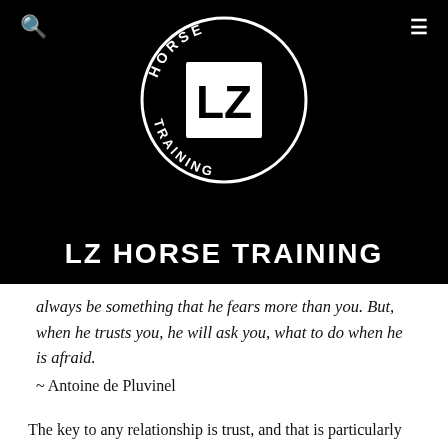[Figure (logo): LZ Horse Training circular logo with 'LZ' in bold letters inside a circle, with 'HORSE' on top arc and 'TRAINING' on bottom arc, white on black background]
LZ HORSE TRAINING
always be something that he fears more than you. But, when he trusts you, he will ask you, what to do when he is afraid.
~ Antoine de Pluvinel
The key to any relationship is trust, and that is particularly important when it comes to horses. To be able to get your horse to trust